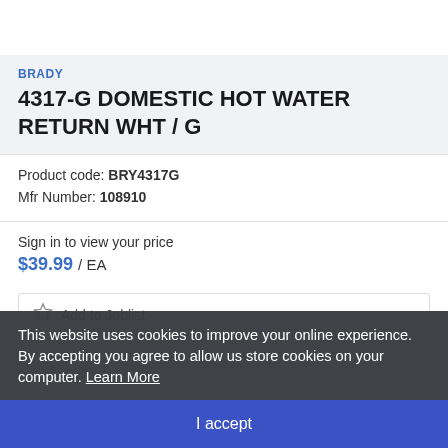BRADY
4317-G DOMESTIC HOT WATER RETURN WHT / G
Product code: BRY4317G
Mfr Number: 108910
Sign in to view your price
$39.99 / EA
Add to Joblist
This website uses cookies to improve your online experience. By accepting you agree to allow us store cookies on your computer. Learn More
I accept